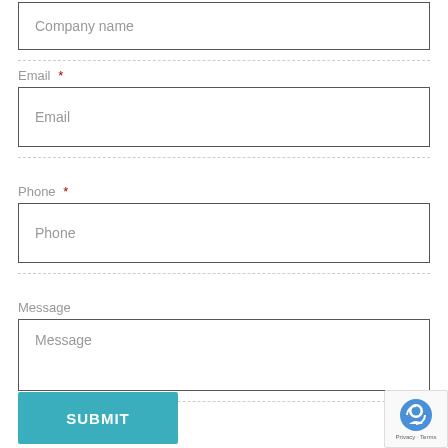Company name (input field, top)
Email *
Email (input placeholder)
Phone *
Phone (input placeholder)
Message
Message (input placeholder)
SUBMIT
[Figure (other): reCAPTCHA badge with robot icon and Privacy - Terms text]